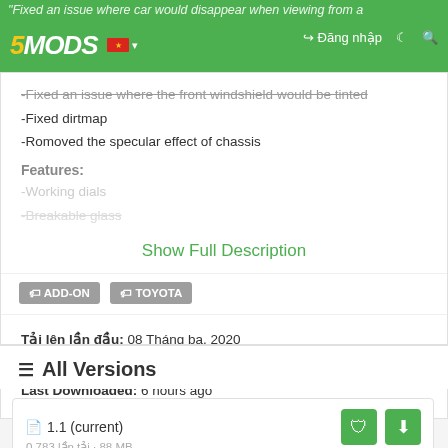5MODS — Fixed an issue where car would disappear when viewing from a
-Fixed an issue where the front windshield would be tinted
-Fixed dirtmap
-Romoved the specular effect of chassis
Features:
-Working dials
-Breakable glass
Show Full Description
ADD-ON   TOYOTA
Tải lên lần đầu: 08 Tháng ba, 2020
Cập nhật lần cuối: 09 Tháng ba, 2020
Last Downloaded: 6 hours ago
All Versions
1.1 (current)